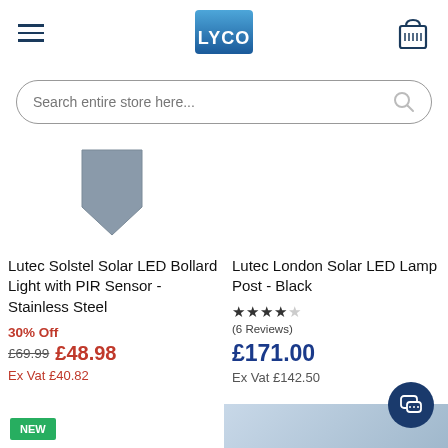LYCO
Search entire store here...
[Figure (photo): Lutec Solstel Solar LED Bollard - stainless steel product thumbnail]
Lutec Solstel Solar LED Bollard Light with PIR Sensor - Stainless Steel
30% Off £69.99 £48.98 Ex Vat £40.82
[Figure (photo): Lutec London Solar LED Lamp Post - Black product thumbnail, with FREE DELIVERY banner]
Lutec London Solar LED Lamp Post - Black
★★★★☆ (6 Reviews) £171.00 Ex Vat £142.50
NEW